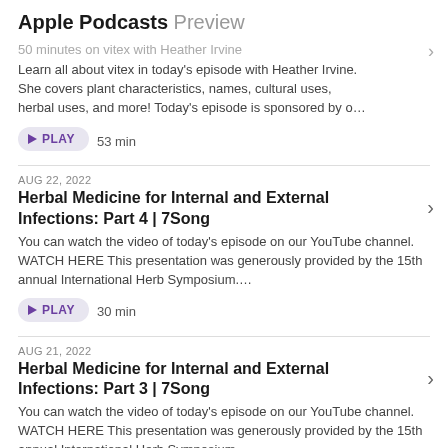Apple Podcasts Preview
50 minutes on vitex with Heather Irvine
Learn all about vitex in today's episode with Heather Irvine. She covers plant characteristics, names, cultural uses, herbal uses, and more! Today's episode is sponsored by o…
PLAY  53 min
AUG 22, 2022
Herbal Medicine for Internal and External Infections: Part 4 | 7Song
You can watch the video of today's episode on our YouTube channel. WATCH HERE This presentation was generously provided by the 15th annual International Herb Symposium….
PLAY  30 min
AUG 21, 2022
Herbal Medicine for Internal and External Infections: Part 3 | 7Song
You can watch the video of today's episode on our YouTube channel. WATCH HERE This presentation was generously provided by the 15th annual International Herb Symposium….
PLAY  28 min